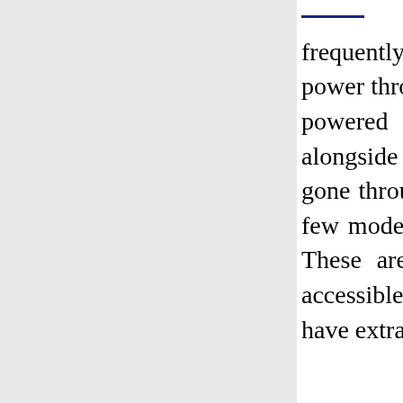frequently select this style. These models use the force of power through pressure to raise and lower a vehicle. Water powered lifts give an additional degree of security alongside their usability. Explicitly planned fluids that are gone through chambers and siphons power the activity. A few models join the force of power with hydrodynamics. These are the most famous kinds of automotive lifts accessible since the power runs the hydrodynamics. They have extraordinary steadiness for